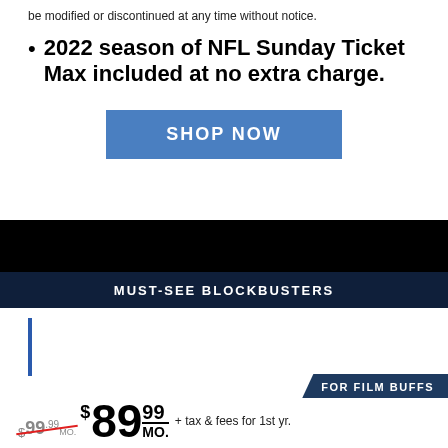be modified or discontinued at any time without notice.
2022 season of NFL Sunday Ticket Max included at no extra charge.
SHOP NOW
MUST-SEE BLOCKBUSTERS
FOR FILM BUFFS
$99.99/MO. $ 89 99 + tax & fees for 1st yr. MO.
w/ 24 mo. agmt. 2nd year price currently $159/mo. + tax & fees. Price subj. to